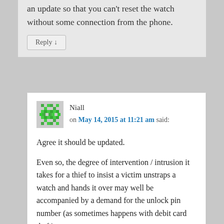an update so that you can't reset the watch without some connection from the phone.
Reply ↓
Niall on May 14, 2015 at 11:21 am said:
Agree it should be updated.
Even so, the degree of intervention / intrusion it takes for a thief to insist a victim unstraps a watch and hands it over may well be accompanied by a demand for the unlock pin number (as sometimes happens with debit card theft)